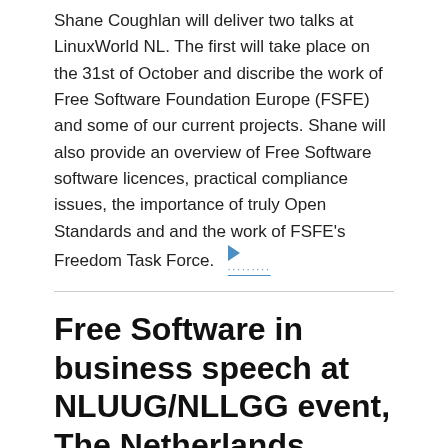Shane Coughlan will deliver two talks at LinuxWorld NL. The first will take place on the 31st of October and discribe the work of Free Software Foundation Europe (FSFE) and some of our current projects. Shane will also provide an overview of Free Software software licences, practical compliance issues, the importance of truly Open Standards and and the work of FSFE's Freedom Task Force.
Free Software in business speech at NLUUG/NLLGG event, The Netherlands
31 October 2007
Shane Coughlan will deliver a talk about Quality Assurance, enterprise reliability and positive steps in Free Software to ensure it meets business requirements at a joint NLUUG/NLLGG event taking place in the same venue as LinuxWorld NL. The event kicks off at 18:30 and continues until 20:30.